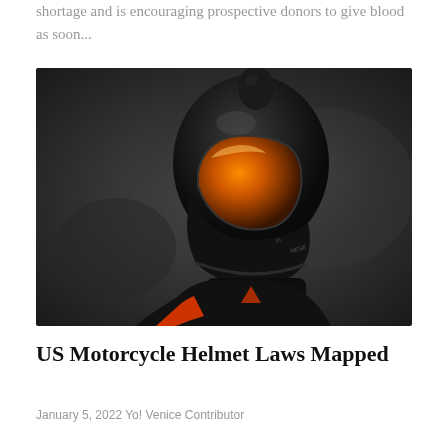shortage and is encouraging prospective donors to give blood as soon...
[Figure (photo): Side profile of a motorcyclist wearing a black full-face helmet with orange visor and a black Dainese leather jacket with orange accents, against a dark background.]
US Motorcycle Helmet Laws Mapped
January 5, 2022 Yo! Venice Contributor